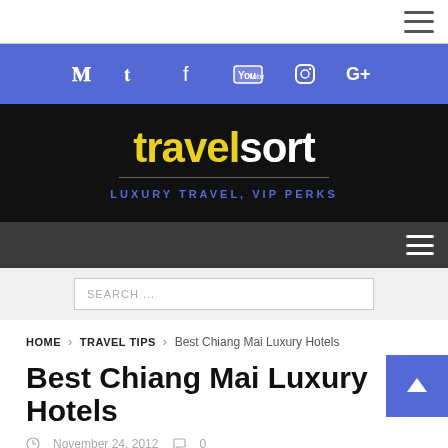[Figure (screenshot): Top navigation bar with hamburger menu icon on white background]
[Figure (screenshot): Social media icons bar in blue/indigo: Twitter, Facebook, YouTube, Instagram, Google+]
[Figure (logo): Travelsort logo on black background with tagline LUXURY TRAVEL, VIP PERKS]
[Figure (screenshot): Dark gray navigation bar with hamburger menu icon]
[Figure (screenshot): Search bar with placeholder text SEARCH ...]
HOME > TRAVEL TIPS > Best Chiang Mai Luxury Hotels
Best Chiang Mai Luxury Hotels
November 24, 2012   0